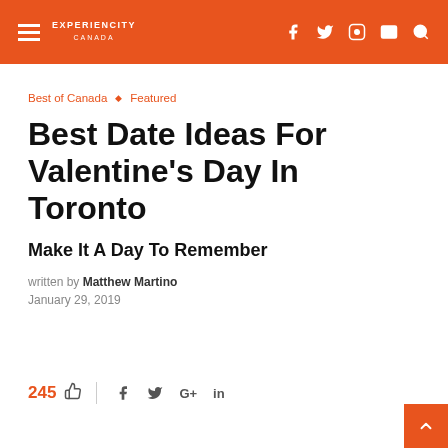EXPERIENCITY CANADA
Best of Canada  ◆  Featured
Best Date Ideas For Valentine's Day In Toronto
Make It A Day To Remember
written by Matthew Martino
January 29, 2019
245  👍  |  f  t  G+  in